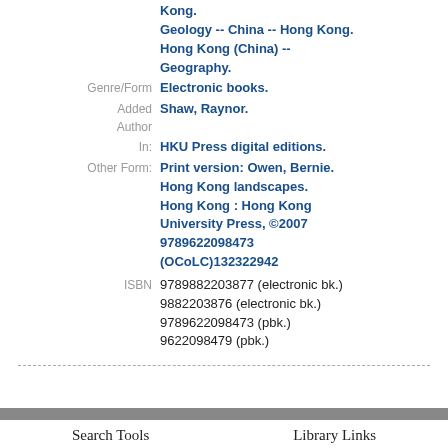Kong.
Geology -- China -- Hong Kong.
Hong Kong (China) -- Geography.
Genre/Form: Electronic books.
Added Author: Shaw, Raynor.
In: HKU Press digital editions.
Other Form: Print version: Owen, Bernie. Hong Kong landscapes. Hong Kong : Hong Kong University Press, ©2007 9789622098473 (OCoLC)132322942
ISBN: 9789882203877 (electronic bk.)
9882203876 (electronic bk.)
9789622098473 (pbk.)
9622098479 (pbk.)
Search Tools    Library Links